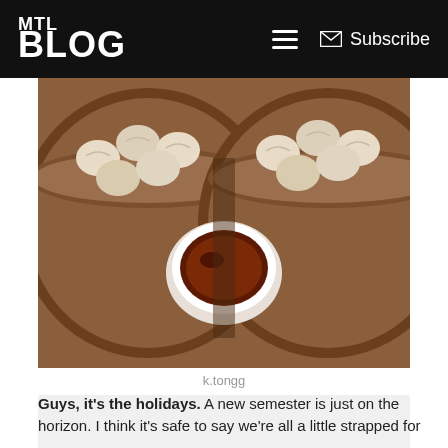MTL BLOG | Subscribe
[Figure (photo): Two bamboo steamer baskets filled with dumplings/soup dumplings (xiaolongbao), with a white bowl of dark dipping sauce in the center, on a wooden surface]
k.tongg
[Figure (other): Advertisement placeholder block (light gray rectangle)]
Guys, it's the holidays. A new semester is just on the horizon. I think it's safe to say we're all a little strapped for